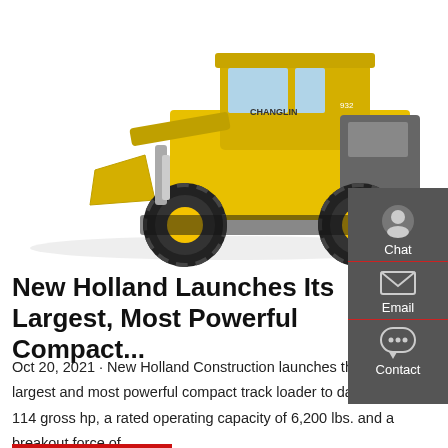[Figure (photo): Yellow Changlin 932 wheel loader / compact track loader on white background, side-angled view showing large treaded tires, yellow bucket in front, gray cab with CHANGLIN branding]
[Figure (infographic): Dark gray sidebar with Chat (headset icon), Email (envelope icon), and Contact (speech bubble icon) buttons, each separated by a red horizontal line]
New Holland Launches Its Largest, Most Powerful Compact...
Oct 20, 2021 · New Holland Construction launches the C362, its largest and most powerful compact track loader to date, offering 114 gross hp, a rated operating capacity of 6,200 lbs. and a breakout force of